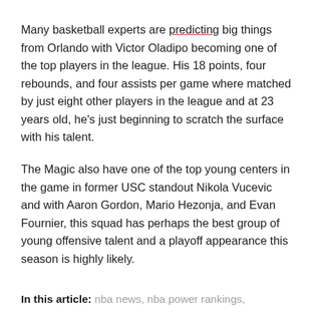Many basketball experts are predicting big things from Orlando with Victor Oladipo becoming one of the top players in the league. His 18 points, four rebounds, and four assists per game where matched by just eight other players in the league and at 23 years old, he's just beginning to scratch the surface with his talent.
The Magic also have one of the top young centers in the game in former USC standout Nikola Vucevic and with Aaron Gordon, Mario Hezonja, and Evan Fournier, this squad has perhaps the best group of young offensive talent and a playoff appearance this season is highly likely.
In this article: nba news, nba power rankings,